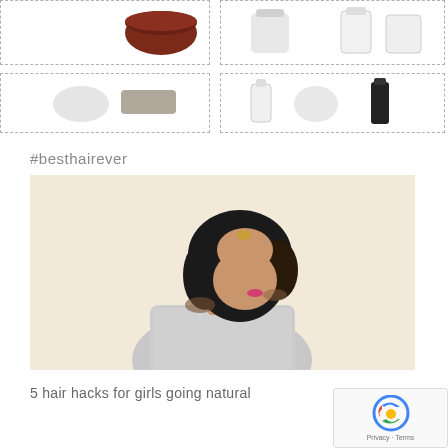[Figure (photo): Four dashed-border product image boxes showing hair/beauty product containers - top row has a dark jar (left box) and white/clear containers (right box); bottom row has white rounded container and grey rectangle (left box) and small bottles/containers (right box)]
#besthairever
[Figure (photo): Woman with short dark bob haircut wearing a silver/sequined sleeveless top, hand raised to head, face partially obscured, against a cream/beige background]
5 hair hacks for girls going natural